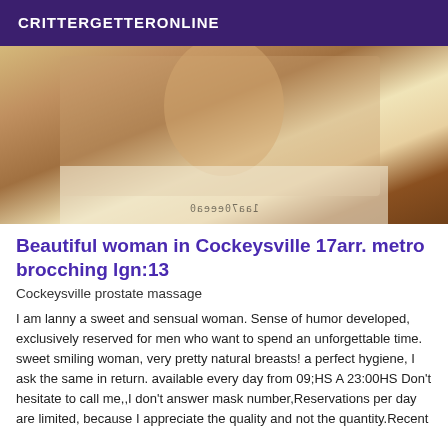CRITTERGETTERONLINE
[Figure (photo): A woman posing on a bed with white sheets, with a watermark text mirrored at the bottom of the image.]
Beautiful woman in Cockeysville 17arr. metro brocching lgn:13
Cockeysville prostate massage
I am lanny a sweet and sensual woman. Sense of humor developed, exclusively reserved for men who want to spend an unforgettable time. sweet smiling woman, very pretty natural breasts! a perfect hygiene, I ask the same in return. available every day from 09;HS A 23:00HS Don't hesitate to call me,,I don't answer mask number,Reservations per day are limited, because I appreciate the quality and not the quantity.Recent